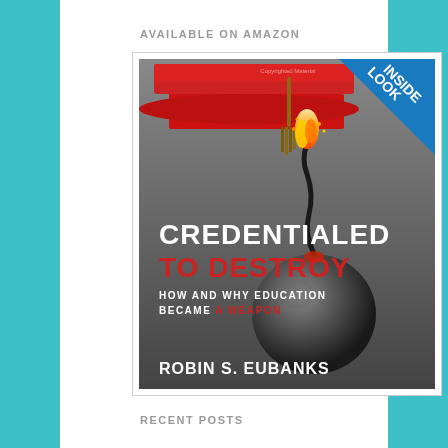AVAILABLE ON AMAZON
[Figure (photo): Book cover of 'Credentialed to Destroy: How and Why Education Became a Weapon' by Robin S. Eubanks. Features a red graduation cap on top, a lit bomb with a tassel fuse in the center, and bold text. A blue 'LOOK INSIDE' badge appears in the top-right corner.]
RECENT POSTS